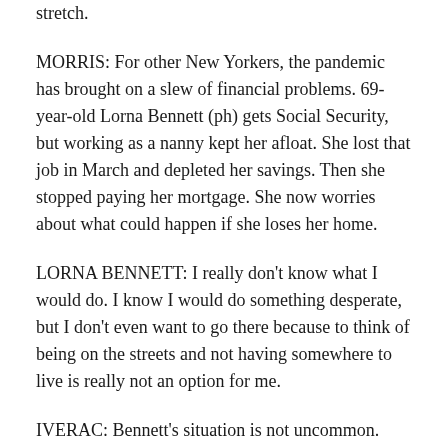stretch.
MORRIS: For other New Yorkers, the pandemic has brought on a slew of financial problems. 69-year-old Lorna Bennett (ph) gets Social Security, but working as a nanny kept her afloat. She lost that job in March and depleted her savings. Then she stopped paying her mortgage. She now worries about what could happen if she loses her home.
LORNA BENNETT: I really don't know what I would do. I know I would do something desperate, but I don't even want to go there because to think of being on the streets and not having somewhere to live is really not an option for me.
IVERAC: Bennett's situation is not uncommon. According to the survey, 1 in 5 New Yorkers have fallen behind on their mortgage or rent.